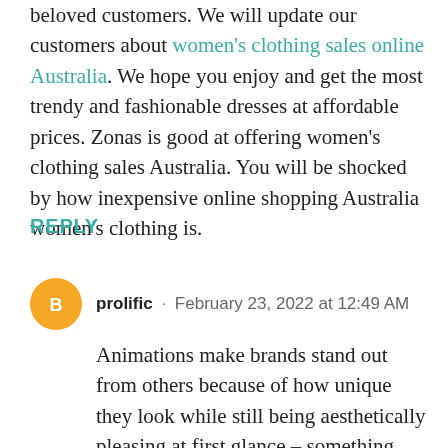beloved customers. We will update our customers about women's clothing sales online Australia. We hope you enjoy and get the most trendy and fashionable dresses at affordable prices. Zonas is good at offering women's clothing sales Australia. You will be shocked by how inexpensive online shopping Australia women's clothing is.
REPLY
prolific · February 23, 2022 at 12:49 AM
Animations make brands stand out from others because of how unique they look while still being aesthetically pleasing at first glance – something that many businesses strive for when trying different ways of capturing attention. Luckily, there's Prolific Studio, an animation production studio where we take animations to the next step and give you the most brilliant